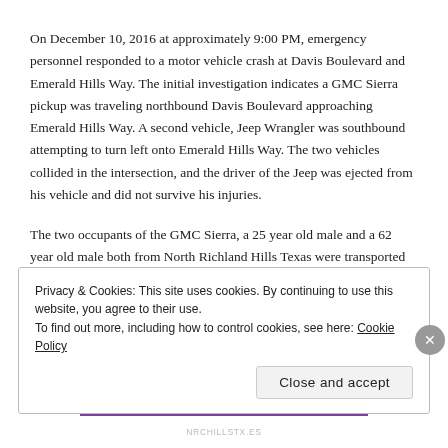On December 10, 2016 at approximately 9:00 PM, emergency personnel responded to a motor vehicle crash at Davis Boulevard and Emerald Hills Way. The initial investigation indicates a GMC Sierra pickup was traveling northbound Davis Boulevard approaching Emerald Hills Way. A second vehicle, Jeep Wrangler was southbound attempting to turn left onto Emerald Hills Way. The two vehicles collided in the intersection, and the driver of the Jeep was ejected from his vehicle and did not survive his injuries.
The two occupants of the GMC Sierra, a 25 year old male and a 62 year old male both from North Richland Hills Texas were transported to an area hospital by ground ambulance with non-life threatening injuries.
Privacy & Cookies: This site uses cookies. By continuing to use this website, you agree to their use.
To find out more, including how to control cookies, see here: Cookie Policy
Close and accept
NRCHILLSTX.ES